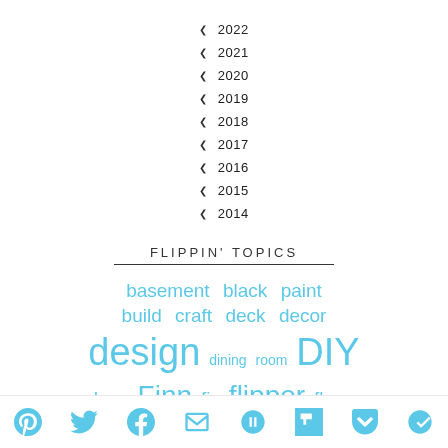▾ 2022
▾ 2021
▾ 2020
▾ 2019
▾ 2018
▾ 2017
▾ 2016
▾ 2015
▾ 2014
FLIPPIN' TOPICS
basement black paint build craft deck decor design dining room DIY dogs Finn fix flipper floors front door garage guides Hailey
[Figure (infographic): Social sharing icons bar at bottom: Pinterest, Twitter, Facebook, Email, unknown, Flipboard, Pocket, unknown]